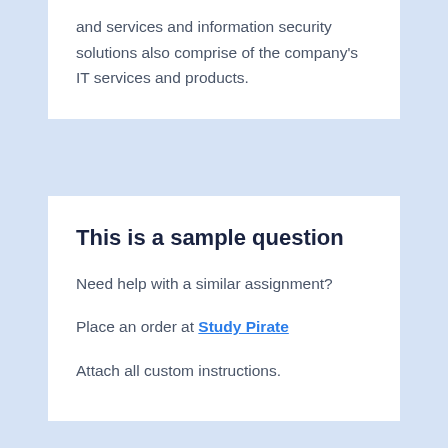and services and information security solutions also comprise of the company's IT services and products.
This is a sample question
Need help with a similar assignment?
Place an order at Study Pirate
Attach all custom instructions.